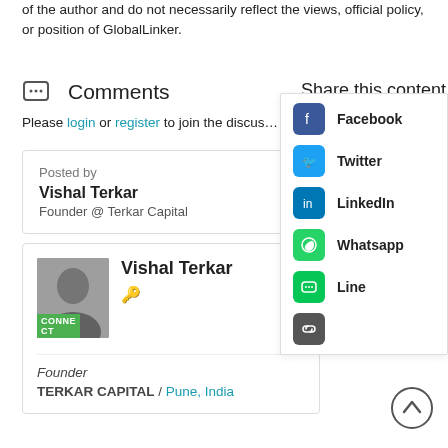of the author and do not necessarily reflect the views, official policy, or position of GlobalLinker.
Comments
Please login or register to join the discus...
Posted by
Vishal Terkar
Founder @ Terkar Capital
Vishal Terkar
Founder
TERKAR CAPITAL / Pune, India
Share this content
Facebook
Twitter
LinkedIn
Whatsapp
Line